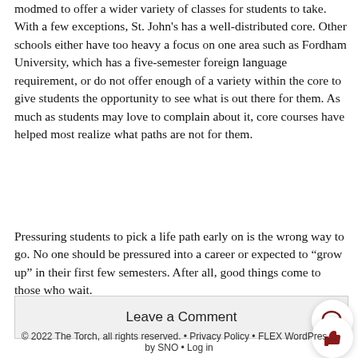modmed to offer a wider variety of classes for students to take. With a few exceptions, St. John's has a well-distributed core. Other schools either have too heavy a focus on one area such as Fordham University, which has a five-semester foreign language requirement, or do not offer enough of a variety within the core to give students the opportunity to see what is out there for them. As much as students may love to complain about it, core courses have helped most realize what paths are not for them.
Pressuring students to pick a life path early on is the wrong way to go. No one should be pressured into a career or expected to “grow up” in their first few semesters. After all, good things come to those who wait.
Leave a Comment
© 2022 The Torch, all rights reserved. • Privacy Policy • FLEX WordPress by SNO • Log in